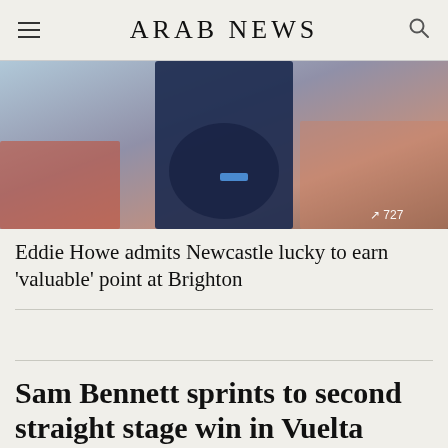ARAB NEWS
[Figure (photo): A person wearing a navy blue shirt, cropped torso view, with a blurred crowd in the background. View count overlay: 727]
Eddie Howe admits Newcastle lucky to earn ‘valuable’ point at Brighton
Sam Bennett sprints to second straight stage win in Vuelta
[Figure (photo): Bottom strip of a crowd photo, partially visible]